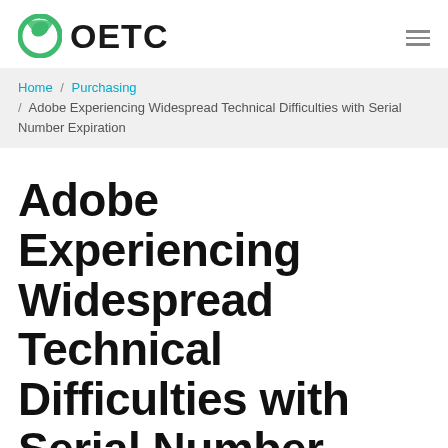OETC
Home / Purchasing / Adobe Experiencing Widespread Technical Difficulties with Serial Number Expiration
Adobe Experiencing Widespread Technical Difficulties with Serial Number Expiration